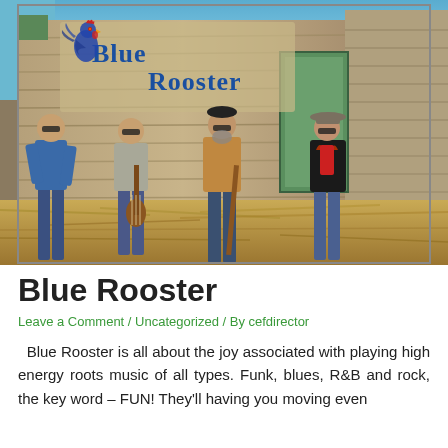[Figure (photo): Four men posing in front of a rustic wooden barn/building with a 'Blue Rooster' painted sign (featuring a rooster illustration) above them. The men are holding musical instruments. The ground has dry hay/straw. Blue sky visible in background.]
Blue Rooster
Leave a Comment / Uncategorized / By cefdirector
Blue Rooster is all about the joy associated with playing high energy roots music of all types. Funk, blues, R&B and rock, the key word – FUN! They'll having you moving even